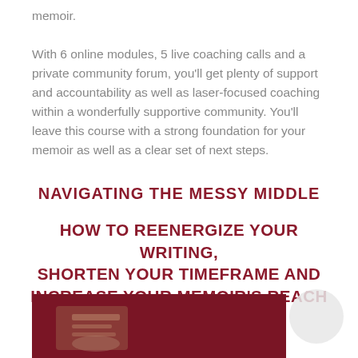memoir.
With 6 online modules, 5 live coaching calls and a private community forum, you’ll get plenty of support and accountability as well as laser-focused coaching within a wonderfully supportive community. You’ll leave this course with a strong foundation for your memoir as well as a clear set of next steps.
NAVIGATING THE MESSY MIDDLE
HOW TO REENERGIZE YOUR WRITING, SHORTEN YOUR TIMEFRAME AND INCREASE YOUR MEMOIR’S REACH
[Figure (photo): A photo of hands writing, partially visible at the bottom of the page, set against a dark red background.]